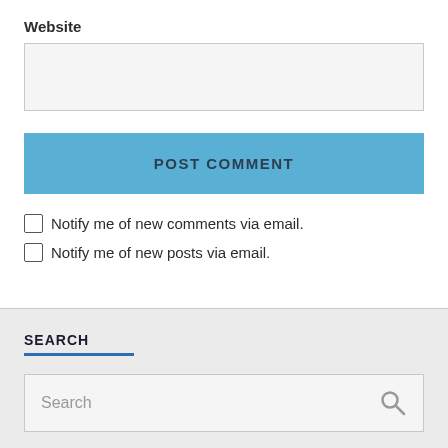Website
[Figure (screenshot): Empty text input box for website URL]
POST COMMENT
Notify me of new comments via email.
Notify me of new posts via email.
SEARCH
[Figure (screenshot): Search input box with placeholder text 'Search' and a search icon]